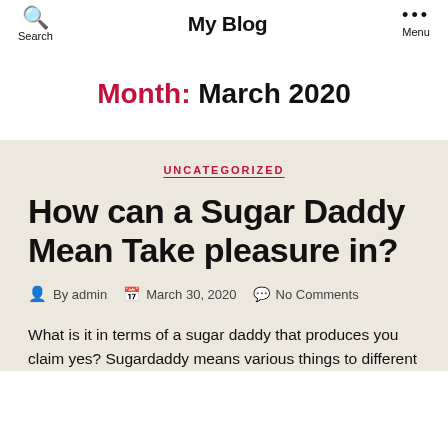My Blog | Search | Menu
Month: March 2020
UNCATEGORIZED
How can a Sugar Daddy Mean Take pleasure in?
By admin    March 30, 2020    No Comments
What is it in terms of a sugar daddy that produces you claim yes? Sugardaddy means various things to different